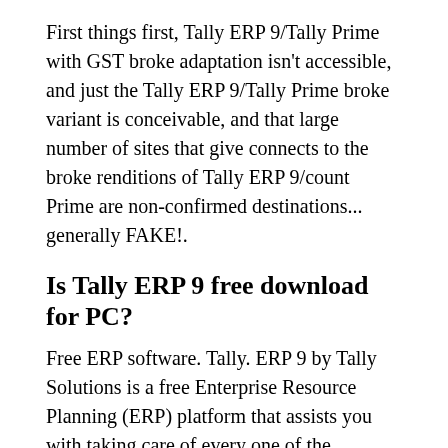First things first, Tally ERP 9/Tally Prime with GST broke adaptation isn't accessible, and just the Tally ERP 9/Tally Prime broke variant is conceivable, and that large number of sites that give connects to the broke renditions of Tally ERP 9/count Prime are non-confirmed destinations... generally FAKE!.
Is Tally ERP 9 free download for PC?
Free ERP software. Tally. ERP 9 by Tally Solutions is a free Enterprise Resource Planning (ERP) platform that assists you with taking care of every one of the difficulties that accompany business improvement. The best part of this ERP bundle is without a doubt its